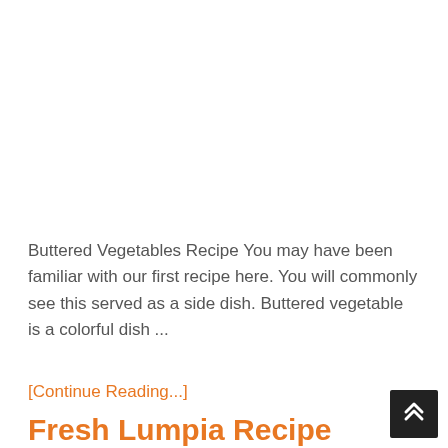Buttered Vegetables Recipe You may have been familiar with our first recipe here. You will commonly see this served as a side dish. Buttered vegetable is a colorful dish ...
[Continue Reading...]
Fresh Lumpia Recipe